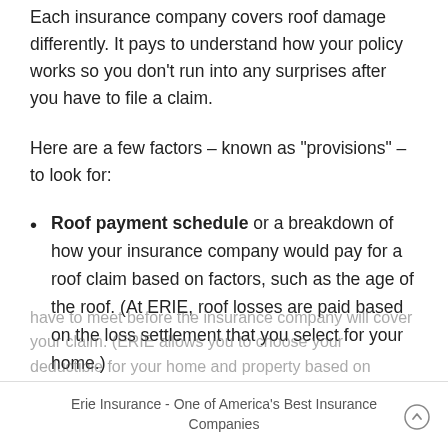Each insurance company covers roof damage differently. It pays to understand how your policy works so you don’t run into any surprises after you have to file a claim.
Here are a few factors – known as “provisions” – to look for:
Roof payment schedule or a breakdown of how your insurance company would pay for a roof claim based on factors, such as the age of the roof. (At ERIE, roof losses are paid based on the loss settlement that you select for your home.)
Mandatory deductible or an amount that you will have to meet before the insurance company will cover your claim. (ERIE allows you to choose your deductible for your home and property based on
Erie Insurance - One of America’s Best Insurance Companies